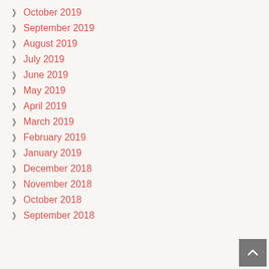October 2019
September 2019
August 2019
July 2019
June 2019
May 2019
April 2019
March 2019
February 2019
January 2019
December 2018
November 2018
October 2018
September 2018